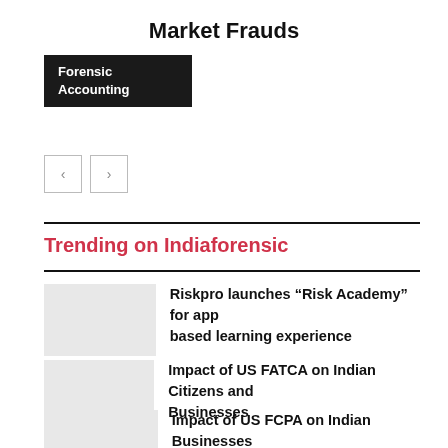Market Frauds
Forensic Accounting
Trending on Indiaforensic
Riskpro launches “Risk Academy” for app based learning experience
Impact of US FATCA on Indian Citizens and Businesses
Impact of US FCPA on Indian Businesses